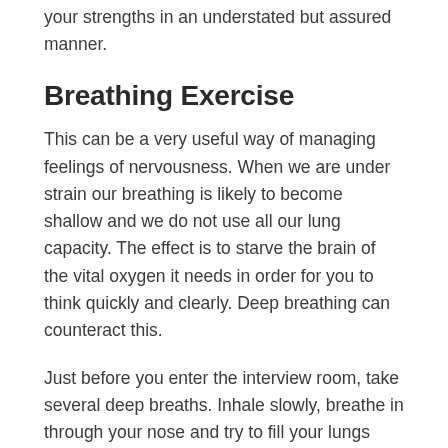your strengths in an understated but assured manner.
Breathing Exercise
This can be a very useful way of managing feelings of nervousness. When we are under strain our breathing is likely to become shallow and we do not use all our lung capacity. The effect is to starve the brain of the vital oxygen it needs in order for you to think quickly and clearly. Deep breathing can counteract this.
Just before you enter the interview room, take several deep breaths. Inhale slowly, breathe in through your nose and try to fill your lungs completely. Watch your stomach move out as you fill up with air. Hold this breath for a count of three, then exhale slowly